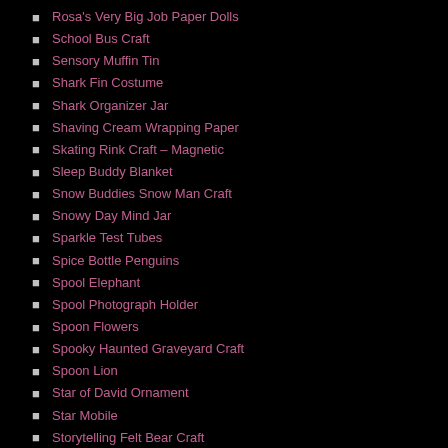Rosa's Very Big Job Paper Dolls
School Bus Craft
Sensory Muffin Tin
Shark Fin Costume
Shark Organizer Jar
Shaving Cream Wrapping Paper
Skating Rink Craft – Magnetic
Sleep Buddy Blanket
Snow Buddies Snow Man Craft
Snowy Day Mind Jar
Sparkle Test Tubes
Spice Bottle Penguins
Spool Elephant
Spool Photograph Holder
Spoon Flowers
Spooky Haunted Graveyard Craft
Spoon Lion
Star of David Ornament
Star Mobile
Storytelling Felt Bear Craft
Sweet Syrup Bottle Figure
Tugboat Bathtub Toy
Turkey Craft